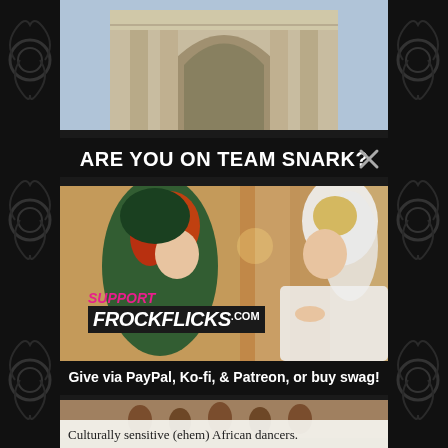[Figure (photo): Top strip showing a classical building facade/arch]
ARE YOU ON TEAM SNARK?
[Figure (photo): Two women in vintage costumes from a classic film, one in dark green hood with red hair, one in white bridal veil, with overlay text reading SUPPORT FROCKFLICKS.COM]
Give via PayPal, Ko-fi, & Patreon, or buy swag!
[Figure (photo): Bottom strip showing African dancers]
Culturally sensitive (ehem) African dancers.